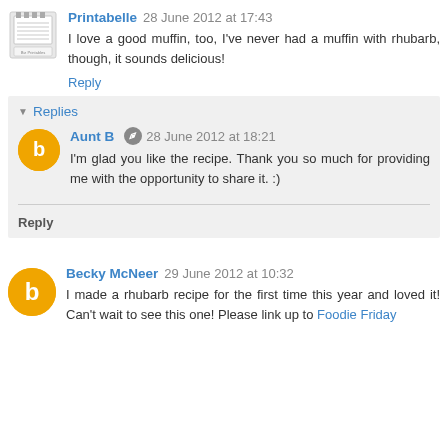Printabelle 28 June 2012 at 17:43
I love a good muffin, too, I've never had a muffin with rhubarb, though, it sounds delicious!
Reply
Replies
Aunt B 28 June 2012 at 18:21
I'm glad you like the recipe. Thank you so much for providing me with the opportunity to share it. :)
Reply
Becky McNeer 29 June 2012 at 10:32
I made a rhubarb recipe for the first time this year and loved it! Can't wait to see this one! Please link up to Foodie Friday